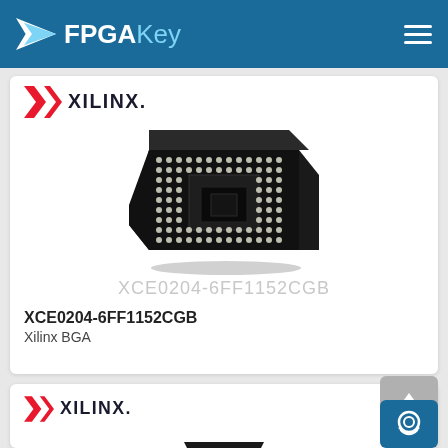FPGAKey
[Figure (logo): Xilinx logo with red X and XILINX. text in dark color]
[Figure (photo): Xilinx BGA chip package XCE0204-6FF1152CGB viewed from above showing ball grid array with black chip body]
XCE0204-6FF1152CGB
XCE0204-6FF1152CGB
Xilinx BGA
[Figure (logo): Xilinx logo with red X and XILINX. text]
[Figure (photo): Partial view of another Xilinx chip package at bottom of page]